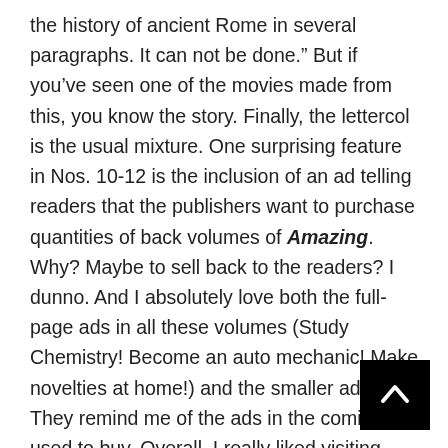the history of ancient Rome in several paragraphs. It can not be done.” But if you’ve seen one of the movies made from this, you know the story. Finally, the lettercol is the usual mixture. One surprising feature in Nos. 10-12 is the inclusion of an ad telling readers that the publishers want to purchase quantities of back volumes of Amazing. Why? Maybe to sell back to the readers? I dunno. And I absolutely love both the full-page ads in all these volumes (Study Chemistry! Become an auto mechanic! Make novelties at home!) and the smaller ads. They remind me of the ads in the comics I used to buy. Overall, I really liked visiting Amazing’s first full year. If you get the chance, do the same yourself; you’ll not only read some old fi[gure obscured]at still works, but you might have as much fun as I di[d obscured]